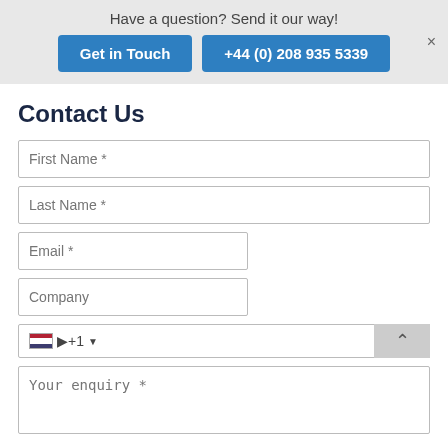Have a question? Send it our way!
Get in Touch
+44 (0) 208 935 5339
Contact Us
First Name *
Last Name *
Email *
Company
+1
Your enquiry *